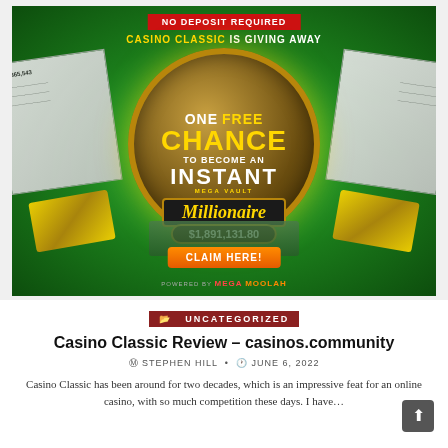[Figure (infographic): Casino Classic advertisement on green background. Red banner at top reading 'NO DEPOSIT REQUIRED'. Text 'CASINO CLASSIC IS GIVING AWAY'. Large vault circle with text 'ONE FREE CHANCE TO BECOME AN INSTANT MEGA VAULT MILLIONAIRE $1,891,131.80'. Orange 'CLAIM HERE!' button. Gold bars, cash piles, and oversized cheques visible. 'POWERED BY MEGA MOOLAH' at bottom.]
UNCATEGORIZED
Casino Classic Review – casinos.community
STEPHEN HILL  •  JUNE 6, 2022
Casino Classic has been around for two decades, which is an impressive feat for an online casino, with so much competition these days. I have…